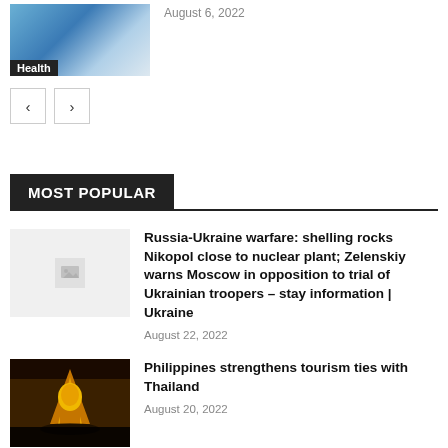[Figure (photo): Health category thumbnail image showing blue crystal/ice texture with 'Health' label overlay]
August 6, 2022
[Figure (other): Navigation previous and next arrow buttons]
MOST POPULAR
[Figure (photo): Placeholder image thumbnail for Russia-Ukraine article]
Russia-Ukraine warfare: shelling rocks Nikopol close to nuclear plant; Zelenskiy warns Moscow in opposition to trial of Ukrainian troopers – stay information | Ukraine
August 22, 2022
[Figure (photo): Photo of golden Buddha statue in Thai temple]
Philippines strengthens tourism ties with Thailand
August 20, 2022